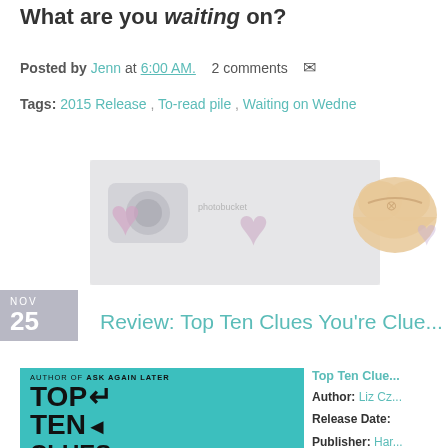What are you waiting on?
Posted by Jenn at 6:00 AM.  2 comments
Tags: 2015 Release , To-read pile , Waiting on Wedne...
[Figure (illustration): Decorative banner image with photobucket watermark and heart illustrations]
NOV 25
Review: Top Ten Clues You're Clue...
[Figure (photo): Book cover for Top Ten Clues - teal background with hand-drawn style title text]
Top Ten Clue...
Author: Liz Cz...
Release Date:...
Publisher: Har...
Source: Edelw...
Rating...